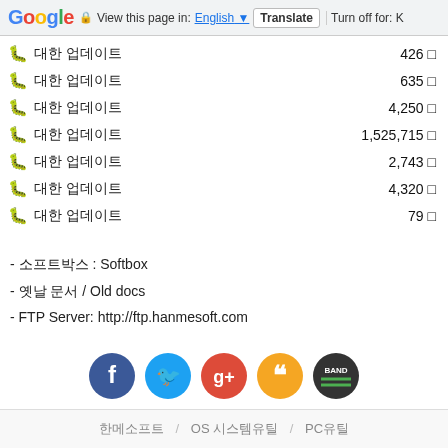Google  View this page in: English  Translate  Turn off for: K
🐛 대한 업데이트  426 □
🐛 대한 업데이트  635 □
🐛 대한 업데이트  4,250 □
🐛 대한 업데이트  1,525,715 □
🐛 대한 업데이트  2,743 □
🐛 대한 업데이트  4,320 □
🐛 대한 업데이트  79 □
- 소프트박스 : Softbox
- 옛날 문서 / Old docs
- FTP Server: http://ftp.hanmesoft.com
[Figure (illustration): Social media icons: Facebook, Twitter, Google+, Quoter/Bookmark, BAND]
한메소프트  /  OS 시스템유틸  /  PC유틸